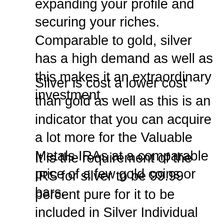expanding your profile and securing your riches. Comparable to gold, silver has a high demand as well as this makes it an extraordinary investment.
Silver is cost a lower cost than gold as well as this is an indicator that you can acquire a lot more for the Valuable Metals IRAs at a comparable price of a few gold coins or bars.
It is the requirement of the IRS for silver to be 99.99 percent pure for it to be included in Silver Individual retirement accounts. All Goldco's rare-earth element investment products are IRS-approved.
Not just does Goldco aid you in setting up your new Precious Metals individual